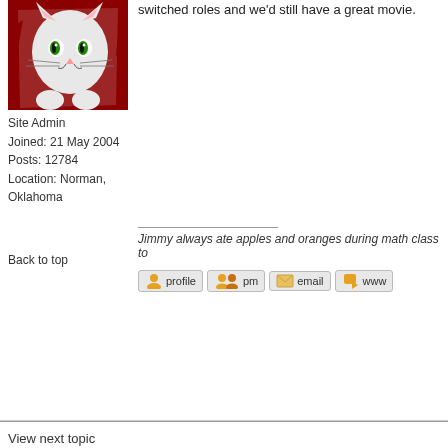[Figure (photo): Forum user avatar: cartoon cat on red background]
Site Admin
Joined: 21 May 2004
Posts: 12784
Location: Norman, Oklahoma
Back to top
switched roles and we'd still have a great movie.
Jimmy always ate apples and oranges during math class to
[Figure (screenshot): Forum action icon buttons: profile, pm, email, www]
View next topic
View previous topic
Third Eye Film Society Forum Index  ~  Third Eye Film Forums
[Figure (screenshot): newtopic and postreply buttons]